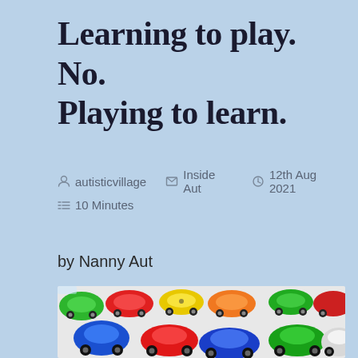Learning to play. No. Playing to learn.
autisticvillage   Inside Aut   12th Aug 2021   10 Minutes
by Nanny Aut
[Figure (photo): A collection of colorful toy cars in red, blue, green, orange, and yellow, densely packed together viewed from above at a slight angle]